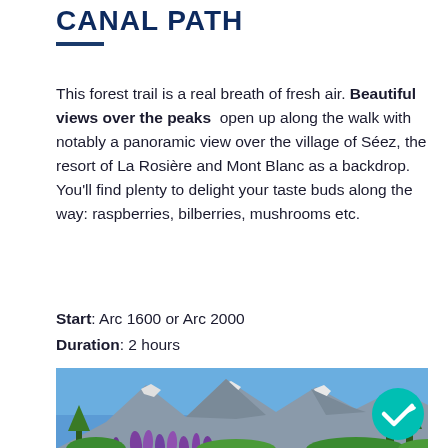CANAL PATH
This forest trail is a real breath of fresh air. Beautiful views over the peaks open up along the walk with notably a panoramic view over the village of Séez, the resort of La Rosière and Mont Blanc as a backdrop. You'll find plenty to delight your taste buds along the way: raspberries, bilberries, mushrooms etc.
Start: Arc 1600 or Arc 2000
Duration: 2 hours
[Figure (photo): Mountain landscape with rocky snow-capped peaks under blue sky, with purple lupine wildflowers and green conifer trees in the foreground.]